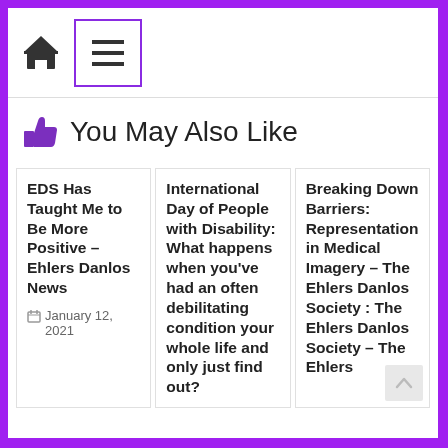[Figure (screenshot): Navigation bar with home icon and hamburger menu in purple-bordered box]
👍 You May Also Like
EDS Has Taught Me to Be More Positive – Ehlers Danlos News
January 12, 2021
International Day of People with Disability: What happens when you've had an often debilitating condition your whole life and only just find out?
Breaking Down Barriers: Representation in Medical Imagery – The Ehlers Danlos Society : The Ehlers Danlos Society – The Ehlers